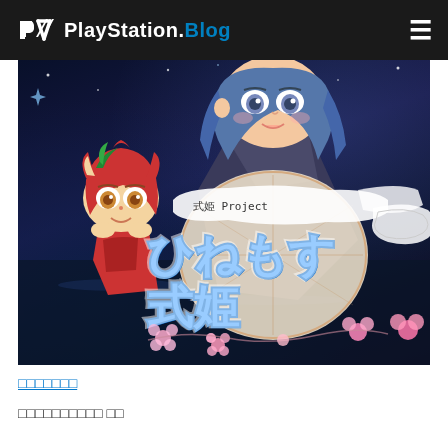PlayStation.Blog
[Figure (illustration): Anime-style game promotional image for '式姫Project ひねもす式姫' showing two anime characters (a small chibi character with red hair and hat, and a blue-haired girl) on a dark blue background with Japanese title text and cherry blossoms]
□□□□□□□
□□□□□□□□□□ □□